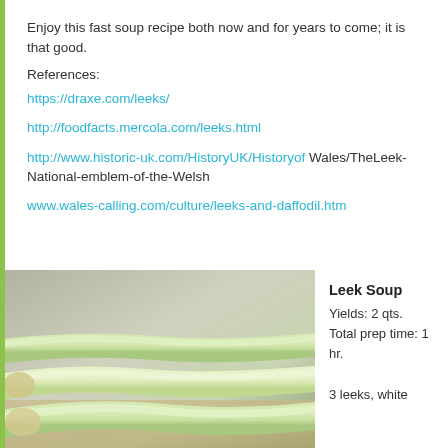Enjoy this fast soup recipe both now and for years to come; it is that good.
References:
https://draxe.com/leeks/
http://foodfacts.mercola.com/leeks.html
http://www.historic-uk.com/HistoryUK/Historyof Wales/TheLeek-National-emblem-of-the-Welsh
www.wales-calling.com/culture/leeks-and-daffodil.htm
[Figure (photo): Photo of leeks lying on a wooden surface, showing pale green stalks against a grey-green background]
Leek Soup
Yields: 2 qts.
Total prep time: 1 hr.

3 leeks, white